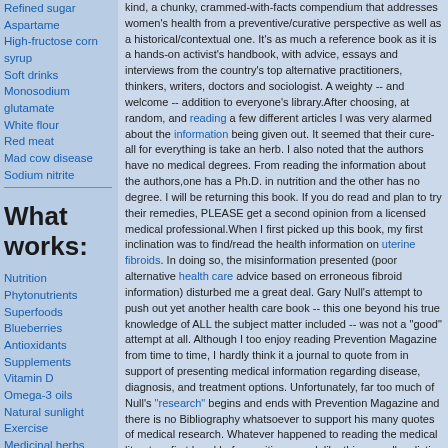Refined sugar
Aspartame
High-fructose corn syrup
Soft drinks
Monosodium glutamate
White flour
Red meat
Mad cow disease
Sodium nitrite
What works:
Nutrition
Phytonutrients
Superfoods
Blueberries
Antioxidants
Supplements
Vitamin D
Omega-3 oils
Natural sunlight
Exercise
Medicinal herbs
Zinc
Chinese medicine
kind, a chunky, crammed-with-facts compendium that addresses women's health from a preventive/curative perspective as well as a historical/contextual one. It's as much a reference book as it is a hands-on activist's handbook, with advice, essays and interviews from the country's top alternative practitioners, thinkers, writers, doctors and sociologist. A weighty -- and welcome -- addition to everyone's library.After choosing, at random, and reading a few different articles I was very alarmed about the information being given out. It seemed that their cure-all for everything is take an herb. I also noted that the authors have no medical degrees. From reading the information about the authors,one has a Ph.D. in nutrition and the other has no degree. I will be returning this book. If you do read and plan to try their remedies, PLEASE get a second opinion from a licensed medical professional.When I first picked up this book, my first inclination was to find/read the health information on uterine fibroids. In doing so, the misinformation presented (poor alternative health care advice based on erroneous fibroid information) disturbed me a great deal. Gary Null's attempt to push out yet another health care book -- this one beyond his true knowledge of ALL the subject matter included -- was not a "good" attempt at all. Although I too enjoy reading Prevention Magazine from time to time, I hardly think it a journal to quote from in support of presenting medical information regarding disease, diagnosis, and treatment options. Unfortunately, far too much of Null's "research" begins and ends with Prevention Magazine and there is no Bibliography whatsoever to support his many quotes of medical research. Whatever happened to reading the medical literature first hand before writing a work like this as well as listing those resources so others could read the